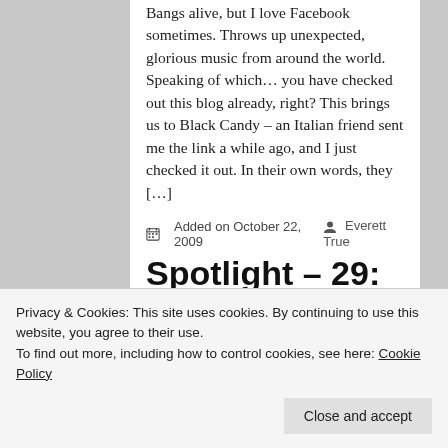Bangs alive, but I love Facebook sometimes. Throws up unexpected, glorious music from around the world. Speaking of which… you have checked out this blog already, right? This brings us to Black Candy – an Italian friend sent me the link a while ago, and I just checked it out. In their own words, they […]
Added on October 22, 2009   Everett True
Spotlight – 29: Kitchen's Floor
I just want to FUCK AND GET HIGH. FUCK AND GET […]
Privacy & Cookies: This site uses cookies. By continuing to use this website, you agree to their use.
To find out more, including how to control cookies, see here: Cookie Policy
Close and accept